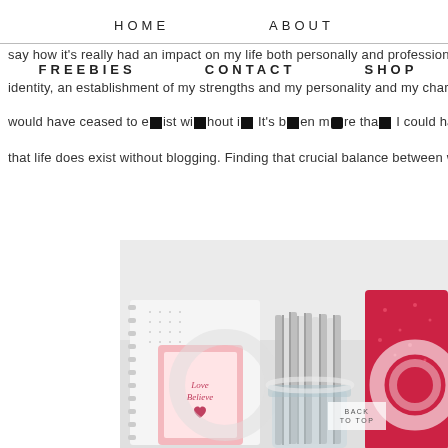HOME   ABOUT
FREEBIES   CONTACT   SHOP
say how it’s really had an impact on my life both personally and professionally
identity, an establishment of my strengths and my personality and my chara
would have ceased to exist without it. It’s been more than I could have ever
that life does exist without blogging. Finding that crucial balance between work
[Figure (photo): Flat lay photo of Valentine's Day themed items: a spiral notebook with heart decorations, a pink frame with 'Love Believe' text and a heart, grey striped paper straws in a mason jar, and a red glittery gift. Background is light grey/white.]